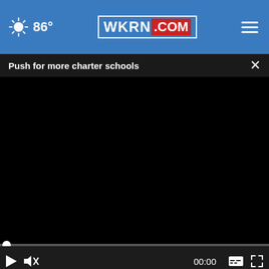86° WKRN.COM
Push for more charter schools
[Figure (screenshot): Black video player with progress bar and controls showing 00:00 timecode, play button, mute button, subtitle button, and fullscreen button]
[Figure (photo): Bottom portion showing a close button and a COMPLIMENTARY IMPLANT CONSULTATION MORE INFO advertisement banner featuring NCID dental logo]
COMPLIMENTARY IMPLANT CONSULTATION MORE INFO